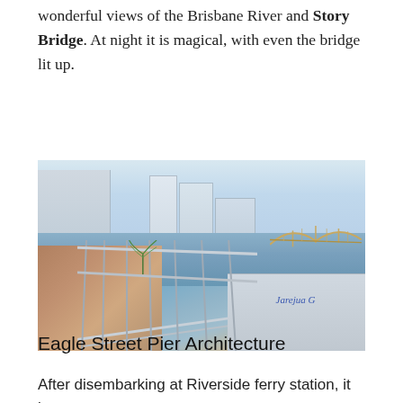wonderful views of the Brisbane River and Story Bridge. At night it is magical, with even the bridge lit up.
[Figure (photo): View from Eagle Street Pier showing the Brisbane River with the Story Bridge visible on the right, city skyscrapers in the background, and a waterfront restaurant/dining precinct in the foreground. Glass railing and brick walkway visible on the left foreground.]
Eagle Street Pier Architecture
After disembarking at Riverside ferry station, it is an